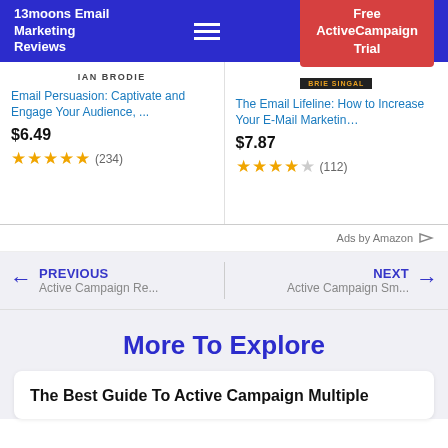13moons Email Marketing Reviews
[Figure (screenshot): Navigation header with site name '13moons Email Marketing Reviews', hamburger menu icon, and red 'Free ActiveCampaign Trial' button on blue background]
[Figure (screenshot): Two Amazon product ad cards side by side: 'Email Persuasion: Captivate and Engage Your Audience, ...' by IAN BRODIE at $6.49 with 4.5 stars (234 reviews), and 'The Email Lifeline: How to Increase Your E-Mail Marketin...' by BRIE SINGAL at $7.87 with 4.5 stars (112 reviews). Ads by Amazon label.]
← PREVIOUS Active Campaign Re...
NEXT → Active Campaign Sm...
More To Explore
The Best Guide To Active Campaign Multiple